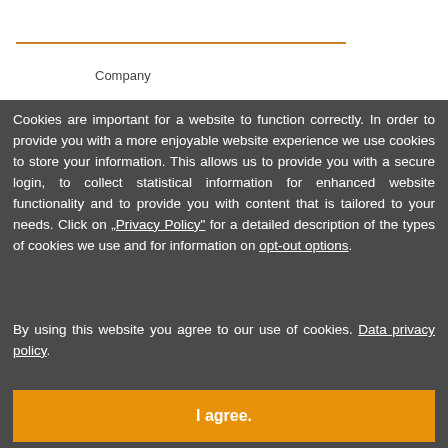Company
Cookies are important for a website to function correctly. In order to provide you with a more enjoyable website experience we use cookies to store your information. This allows us to provide you with a secure login, to collect statistical information for enhanced website functionality and to provide you with content that is tailored to your needs. Click on „Privacy Policy“ for a detailed description of the types of cookies we use and for information on opt-out options.
By using this website you agree to our use of cookies. Data privacy policy.
I agree.